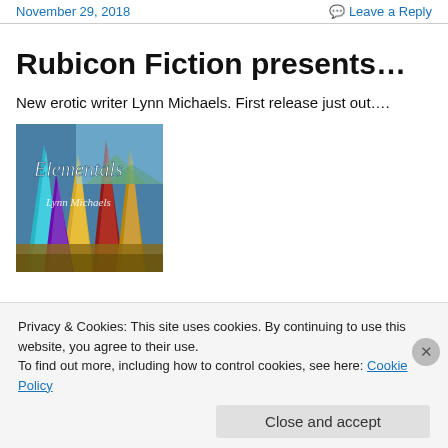November 29, 2018    Leave a Reply
Rubicon Fiction presents…
New erotic writer Lynn Michaels. First release just out….
[Figure (photo): Book cover for 'Elementals' by Lynn Michaels, showing colorful crystalline spines against a landscape background]
Privacy & Cookies: This site uses cookies. By continuing to use this website, you agree to their use.
To find out more, including how to control cookies, see here: Cookie Policy
Close and accept